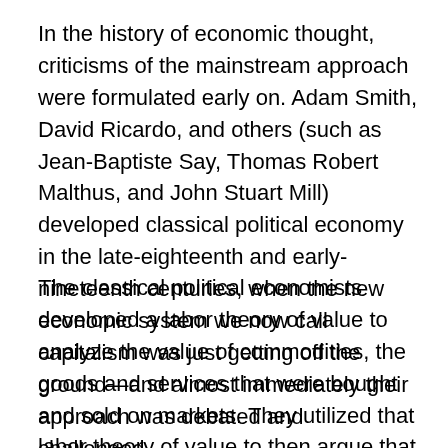In the history of economic thought, criticisms of the mainstream approach were formulated early on. Adam Smith, David Ricardo, and others (such as Jean-Baptiste Say, Thomas Robert Malthus, and John Stuart Mill) developed classical political economy in the late-eighteenth and early-nineteenth centuries, when the new economic system we now call capitalism was just getting off the ground—and almost immediately their approach was debated and challenged.
The classical political economists developed a labor theory of value to analyze the value of commodities, the goods and services that were bought and sold on markets. They utilized that labor theory of value to then argue that capitalism, based on increasing productivity and free international trade, would lead to the growth of industry and, in turn, to the wealth of nations.